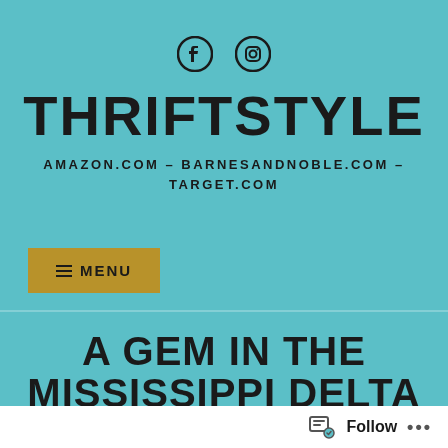[Figure (other): Social media icons: Facebook and Instagram]
THRIFTSTYLE
AMAZON.COM – BARNESANDNOBLE.COM – TARGET.COM
≡ MENU
A GEM IN THE MISSISSIPPI DELTA
Follow •••